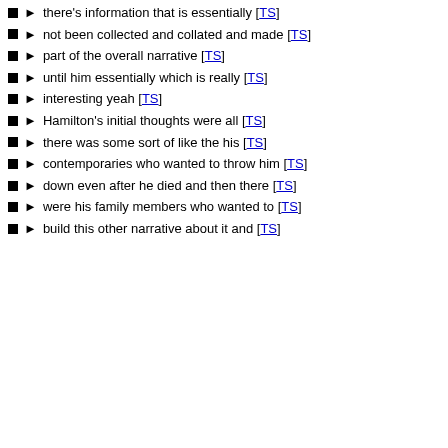there's information that is essentially [TS]
not been collected and collated and made [TS]
part of the overall narrative [TS]
until him essentially which is really [TS]
interesting yeah [TS]
Hamilton's initial thoughts were all [TS]
there was some sort of like the his [TS]
contemporaries who wanted to throw him [TS]
down even after he died and then there [TS]
were his family members who wanted to [TS]
build this other narrative about it and [TS]